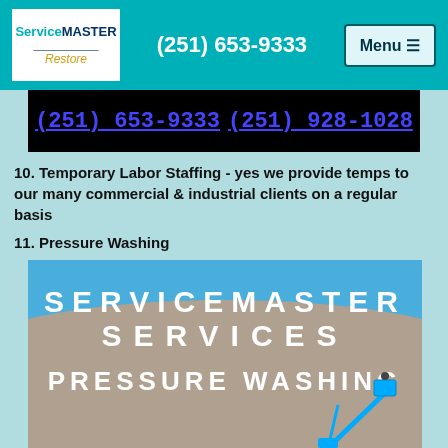(251) 653-9333 | ServiceMaster Restore | Menu
[Figure (screenshot): Black banner with two phone numbers (251) 653-9333 and (251) 928-1028 in blue underlined text on black background]
10. Temporary Labor Staffing - yes we provide temps to our many commercial & industrial clients on a regular basis
11. Pressure Washing
[Figure (photo): ServiceMaster Services Pressure Washing advertisement image showing a blue sky background with bold white text reading SERVICEMASTER SERVICES PRESSURE WASHING and a crane lift with worker at the bottom right]